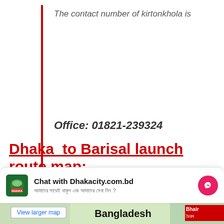The contact number of kirtonkhola is
Office: 01821-239324
Dhaka  to Barisal launch route map:
Chat with Dhakacity.com.bd
আমাদের সাথেই থাকুন এবং আমাদের সেবা নিন ?
[Figure (map): Partial map showing Bangladesh label and Bhairab area with 'View larger map' link at bottom of page]